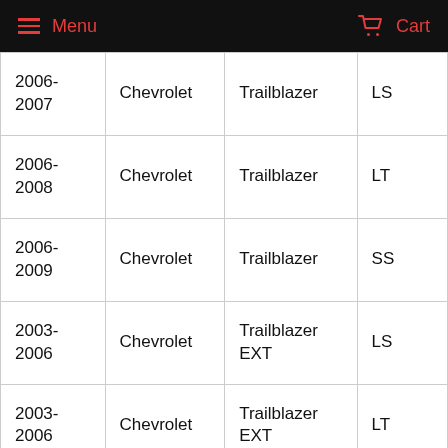Menu  Cart
| 2006-2007 | Chevrolet | Trailblazer | LS |
| 2006-2008 | Chevrolet | Trailblazer | LT |
| 2006-2009 | Chevrolet | Trailblazer | SS |
| 2003-2006 | Chevrolet | Trailblazer EXT | LS |
| 2003-2006 | Chevrolet | Trailblazer EXT | LT |
| 2003-2004 | Chevrolet | Trailblazer EXT | No...e |